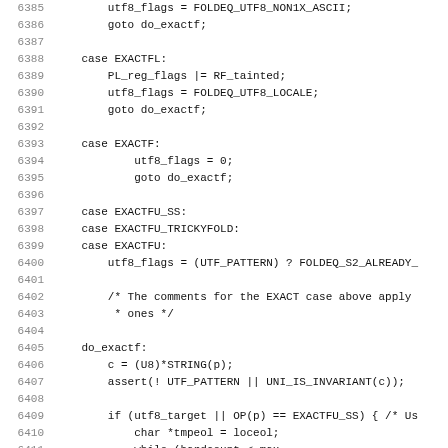[Figure (other): Source code listing in monospace font with line numbers 6385-6417, showing C code for regex pattern matching with cases EXACTFL, EXACTF, EXACTFU_SS, EXACTFU_TRICKYFOLD, EXACTFU and a do_exactf label.]